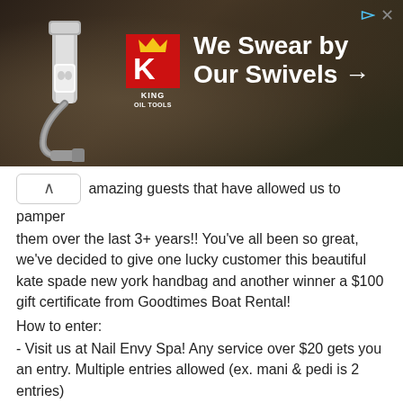[Figure (photo): Advertisement banner for King Oil Tools showing a dark earthy background with a gas pump nozzle on the left, red K logo with crown and text KING OIL TOOLS, and white text reading 'We Swear by Our Swivels →'. Small ad icons in top right corner.]
amazing guests that have allowed us to pamper them over the last 3+ years!! You've all been so great, we've decided to give one lucky customer this beautiful kate spade new york handbag and another winner a $100 gift certificate from Goodtimes Boat Rental!
How to enter:
- Visit us at Nail Envy Spa! Any service over $20 gets you an entry. Multiple entries allowed (ex. mani & pedi is 2 entries)
On November 30th, we are going to do a live Facebook drawing announcing our Gorgeous Guest! Please like our page, share this post and tag a friend or two. See you soon!!